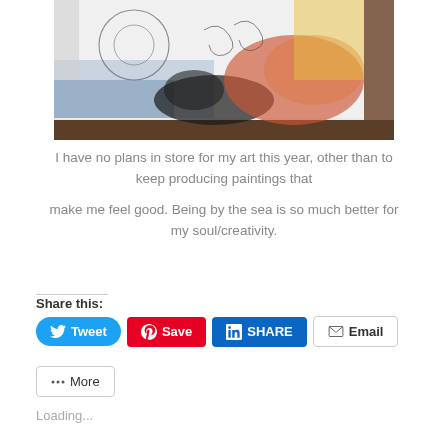[Figure (photo): A canvas painting in progress on an easel showing circular/swirl pencil sketches on a white canvas with blue, black, orange/red paint splattered across the lower and right portions. Studio setting visible in background.]
I have no plans in store for my art this year, other than to keep producing paintings that

make me feel good. Being by the sea is so much better for my soul/creativity.
Share this:
Tweet
Save
SHARE
Email
More
Loading...